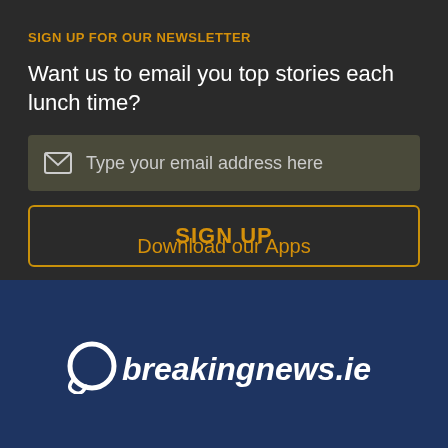SIGN UP FOR OUR NEWSLETTER
Want us to email you top stories each lunch time?
Type your email address here
SIGN UP
Download our Apps
[Figure (logo): breakingnews.ie logo with stylized circular O icon in white on dark blue background]